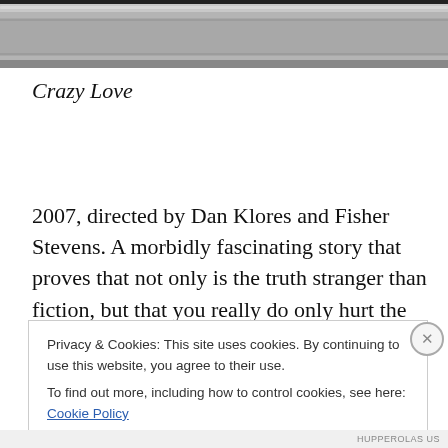[Figure (photo): Top portion of a decorative silver picture frame with ornate border detail, partially cropped at top of page.]
Crazy Love
2007, directed by Dan Klores and Fisher Stevens. A morbidly fascinating story that proves that not only is the truth stranger than fiction, but that you really do only hurt the one you love. You can read reviews for the
Privacy & Cookies: This site uses cookies. By continuing to use this website, you agree to their use.
To find out more, including how to control cookies, see here: Cookie Policy
HUPPEROLAS US